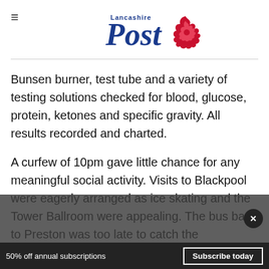Lancashire Post
Bunsen burner, test tube and a variety of testing solutions checked for blood, glucose, protein, ketones and specific gravity. All results recorded and charted.
A curfew of 10pm gave little chance for any meaningful social activity. Visits to Blackpool were eagerly arranged as ice skating and the Tower Ballroom were appealing. The bus back to Preston was too late to catch the corporation
50% off annual subscriptions
Subscribe today